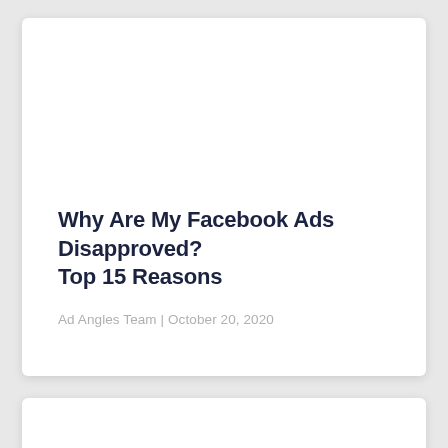Why Are My Facebook Ads Disapproved? Top 15 Reasons
Ad Angles Team | October 20, 2020